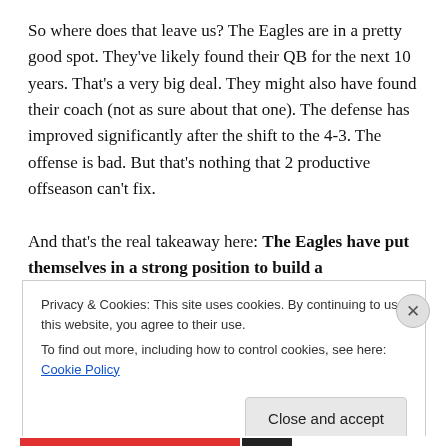So where does that leave us?  The Eagles are in a pretty good spot.  They've likely found their QB for the next 10 years.  That's a very big deal.  They might also have found their coach (not as sure about that one).  The defense has improved significantly after the shift to the 4-3.  The offense is bad.  But that's nothing that 2 productive offseason can't fix.

And that's the real takeaway here:  The Eagles have put themselves in a strong position to build a
Privacy & Cookies: This site uses cookies. By continuing to use this website, you agree to their use.
To find out more, including how to control cookies, see here: Cookie Policy